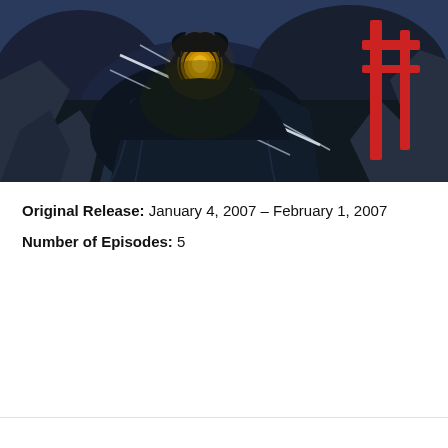[Figure (illustration): Anime illustration showing a dark-cloaked figure with a glowing golden mask/face, surrounded by rocky terrain. Red architectural elements (torii gate or fence) visible on the right side. Dark, dramatic color palette with blues and grays.]
Original Release: January 4, 2007 – February 1, 2007
Number of Episodes: 5